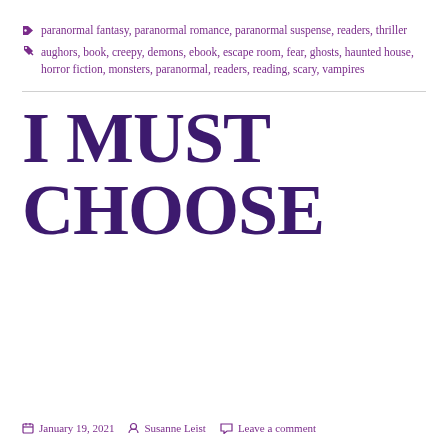📁 paranormal fantasy, paranormal romance, paranormal suspense, readers, thriller
🏷 aughors, book, creepy, demons, ebook, escape room, fear, ghosts, haunted house, horror fiction, monsters, paranormal, readers, reading, scary, vampires
I MUST CHOOSE
January 19, 2021   Susanne Leist   Leave a comment